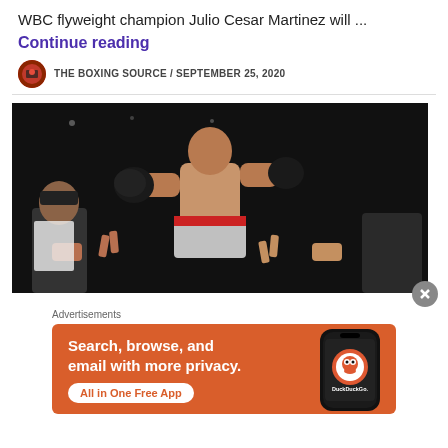WBC flyweight champion Julio Cesar Martinez will ...
Continue reading
THE BOXING SOURCE / SEPTEMBER 25, 2020
[Figure (photo): Boxer Julio Cesar Martinez celebrating in ring, shirtless with boxing gloves, surrounded by cornermen in dark arena]
Advertisements
[Figure (infographic): DuckDuckGo advertisement banner: 'Search, browse, and email with more privacy. All in One Free App' with phone graphic showing DuckDuckGo logo]